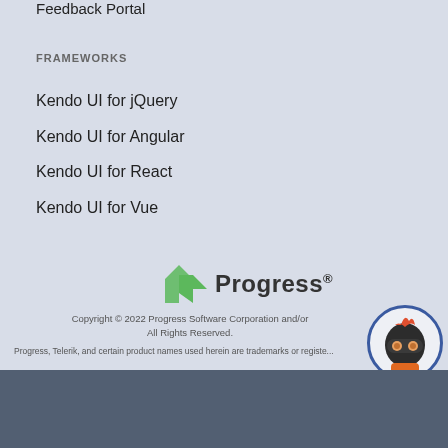Feedback Portal
FRAMEWORKS
Kendo UI for jQuery
Kendo UI for Angular
Kendo UI for React
Kendo UI for Vue
[Figure (logo): Progress Software logo with green arrow icon and 'Progress' text]
Copyright © 2022 Progress Software Corporation and/or its subsidiaries or affiliates. All Rights Reserved.
Progress, Telerik, and certain product names used herein are trademarks or registered trademarks of Progress Software Corporation and/or one of its subsidiaries or affiliates in the U.S. and/or other countries.
We use cookies to personalize content and ads, to provide social media features and to analyze our traffic. Some of these cookies also help improve your user experience on our websites, assist with navigation and your ability to provide feedback, and assist with our promotional and marketing efforts. Please read our Cookie Policy for a more detailed description and click on the settings button to customize how the site uses cookies for you.